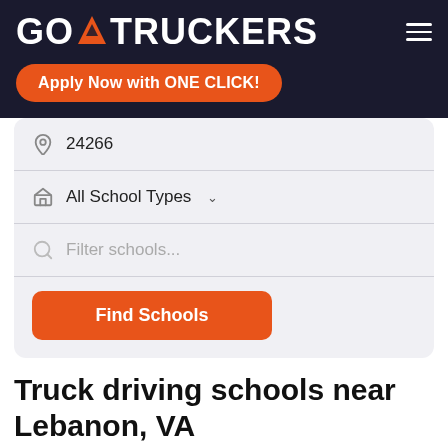GO TRUCKERS
Apply Now with ONE CLICK!
24266
All School Types
Filter schools...
Find Schools
Truck driving schools near Lebanon, VA
Tri-County Driving Academy